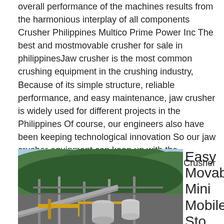overall performance of the machines results from the harmonious interplay of all components Crusher Philippines Multico Prime Power Inc The best and mostmovable crusher for sale in philippinesJaw crusher is the most common crushing equipment in the crushing industry, Because of its simple structure, reliable performance, and easy maintenance, jaw crusher is widely used for different projects in the Philippines Of course, our engineers also have been keeping technological innovation So our jaw crusher equipment can keep up with the development of the crushing industryJaw Crusher for Sale in Philippines Click for Price List
[Figure (photo): Photograph of a stone crusher / mining plant facility with industrial machinery, conveyor belts, tanks, and steel framework set against a forested hillside and blue sky.]
Easy Movable Mini Mobile Stone